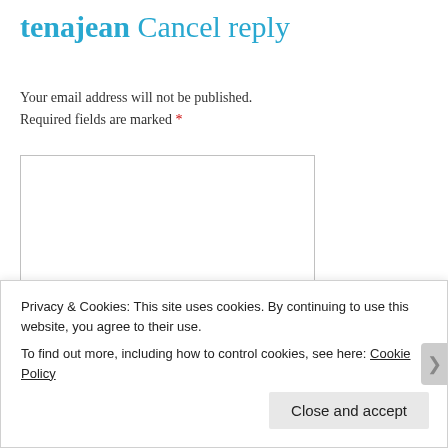tenajean Cancel reply
Your email address will not be published.
Required fields are marked *
[Figure (other): Empty comment text area input field with resize handle]
Privacy & Cookies: This site uses cookies. By continuing to use this website, you agree to their use.
To find out more, including how to control cookies, see here: Cookie Policy
Close and accept